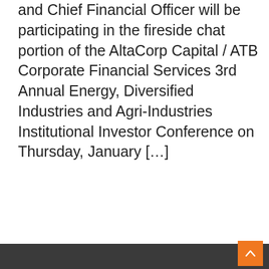and Chief Financial Officer will be participating in the fireside chat portion of the AltaCorp Capital / ATB Corporate Financial Services 3rd Annual Energy, Diversified Industries and Agri-Industries Institutional Investor Conference on Thursday, January [...]